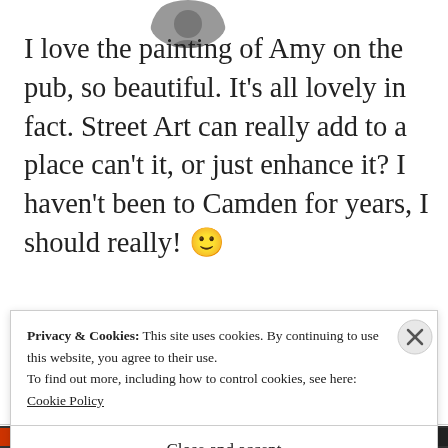[Figure (photo): Circular avatar/profile photo, greyscale, partially cropped at top]
I love the painting of Amy on the pub, so beautiful. It's all lovely in fact. Street Art can really add to a place can't it, or just enhance it? I haven't been to Camden for years, I should really! 🙂
★ Like
REPLY
[Figure (photo): Circular avatar/profile photo, partially visible at bottom]
Privacy & Cookies: This site uses cookies. By continuing to use this website, you agree to their use.
To find out more, including how to control cookies, see here:
Cookie Policy
Close and accept